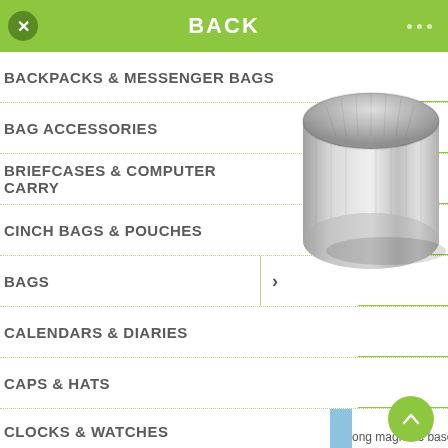BACK
BACKPACKS & MESSENGER BAGS
BAG ACCESSORIES
BRIEFCASES & COMPUTER CARRY
CINCH BAGS & POUCHES
BAGS
CALENDARS & DIARIES
CAPS & HATS
CLOCKS & WATCHES
[Figure (photo): Close-up photo of a silver/metallic cylindrical object (pen or stylus tip) on white background]
ong magnetic base